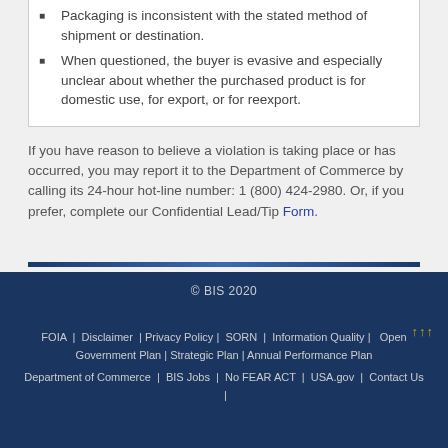Packaging is inconsistent with the stated method of shipment or destination.
When questioned, the buyer is evasive and especially unclear about whether the purchased product is for domestic use, for export, or for reexport.
If you have reason to believe a violation is taking place or has occurred, you may report it to the Department of Commerce by calling its 24-hour hot-line number: 1 (800) 424-2980. Or, if you prefer, complete our Confidential Lead/Tip Form.
© BIS 2020  FOIA | Disclaimer | Privacy Policy | SORN | Information Quality | Open Government Plan | Strategic Plan | Annual Performance Plan  Department of Commerce | BIS Jobs | No FEAR ACT | USA.gov | Contact Us |